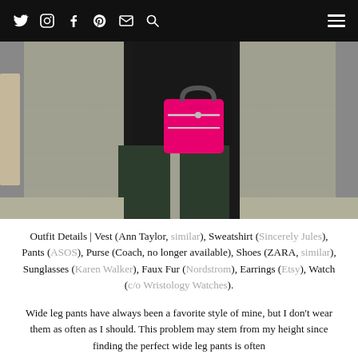Social media icons: Twitter, Instagram, Facebook, Pinterest, Email, Search; Hamburger menu
[Figure (photo): Street style photo showing a person in a black vest/sweatshirt outfit holding a bright pink Coach purse, wearing dark wide leg pants. Outdoor setting on pavement.]
Outfit Details | Vest (Ann Taylor, similar), Sweatshirt (Sincerely Jules), Pants (ASOS), Purse (Coach, no longer available), Shoes (ZARA, similar), Sunglasses (Karen Walker), Faux Fur (Nordstrom), Earrings (Etsy), Watch (c/o Wristology Watches).
Wide leg pants have always been a favorite style of mine, but I don't wear them as often as I should. This problem may stem from my height since finding the perfect wide leg pants is often